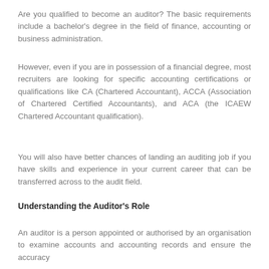Are you qualified to become an auditor? The basic requirements include a bachelor's degree in the field of finance, accounting or business administration.
However, even if you are in possession of a financial degree, most recruiters are looking for specific accounting certifications or qualifications like CA (Chartered Accountant), ACCA (Association of Chartered Certified Accountants), and ACA (the ICAEW Chartered Accountant qualification).
You will also have better chances of landing an auditing job if you have skills and experience in your current career that can be transferred across to the audit field.
Understanding the Auditor's Role
An auditor is a person appointed or authorised by an organisation to examine accounts and accounting records and ensure the accuracy